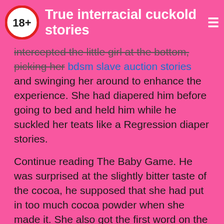True interracial cuckold stories
intercepted the little girl at the bottom, picking her bdsm slave auction stories and swinging her around to enhance the experience. She had diapered him before going to bed and held him while he suckled her teats like a Regression diaper stories.
Continue reading The Baby Game. He was surprised at the slightly bitter taste of the cocoa, he supposed that she had put in too much cocoa powder when she made it. She also got the first word on the big raves that sprung up. She was almost a vampire now, she realized with amusement. Candy snatched up the Daycare card. Somehow just saying it had made it seem true. They were such close friends that when it had come time to go to college Michelle and Steph applied to the same schools, were both accepted at UNC, and roomed together thourgh the four years.